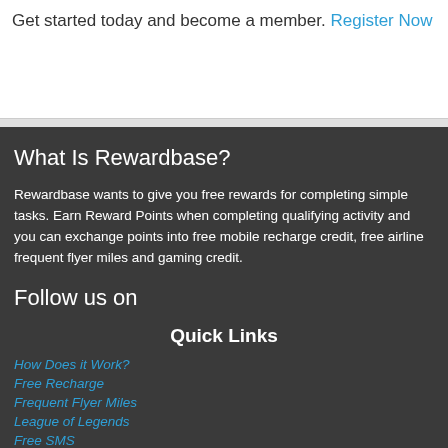Get started today and become a member. Register Now
What Is Rewardbase?
Rewardbase wants to give you free rewards for completing simple tasks. Earn Reward Points when completing qualifying activity and you can exchange points into free mobile recharge credit, free airline frequent flyer miles and gaming credit.
Follow us on
Quick Links
How Does it Work?
Free Recharge
Frequent Flyer Miles
League of Legends
Free SMS